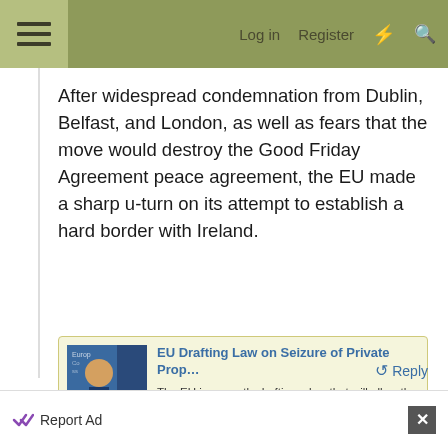Log in  Register
After widespread condemnation from Dublin, Belfast, and London, as well as fears that the move would destroy the Good Friday Agreement peace agreement, the EU made a sharp u-turn on its attempt to establish a hard border with Ireland.
[Figure (screenshot): Link card showing article: EU Drafting Law on Seizure of Private Prop... with thumbnail image, description text, and breitbart.com source.]
Reply
Report Ad